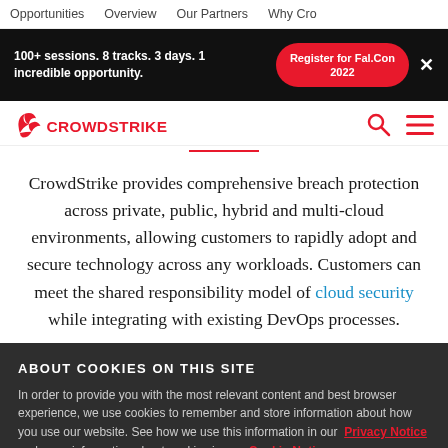Opportunities   Overview   Our Partners   Why Cro
[Figure (screenshot): CrowdStrike promotional banner: '100+ sessions. 8 tracks. 3 days. 1 incredible opportunity.' with a red oval 'Register for Fal.Con 2022' button and a white X close button, on black background.]
[Figure (logo): CrowdStrike logo in red with search icon and hamburger menu icon]
CrowdStrike provides comprehensive breach protection across private, public, hybrid and multi-cloud environments, allowing customers to rapidly adopt and secure technology across any workloads. Customers can meet the shared responsibility model of cloud security while integrating with existing DevOps processes.
ABOUT COOKIES ON THIS SITE
In order to provide you with the most relevant content and best browser experience, we use cookies to remember and store information about how you use our website. See how we use this information in our Privacy Notice and more information about cookies in our Cookie Notice